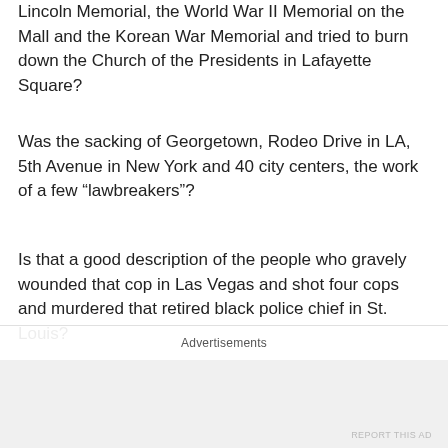Lincoln Memorial, the World War II Memorial on the Mall and the Korean War Memorial and tried to burn down the Church of the Presidents in Lafayette Square?
Was the sacking of Georgetown, Rodeo Drive in LA, 5th Avenue in New York and 40 city centers, the work of a few “lawbreakers”?
Is that a good description of the people who gravely wounded that cop in Las Vegas and shot four cops and murdered that retired black police chief in St. Louis?
The protesters, says Mattis, are “rightly demanding … Equal Justice Under Law.” This is a “wholesome and unifying demand — one that all of us should be able to get
Advertisements
REPORT THIS AD